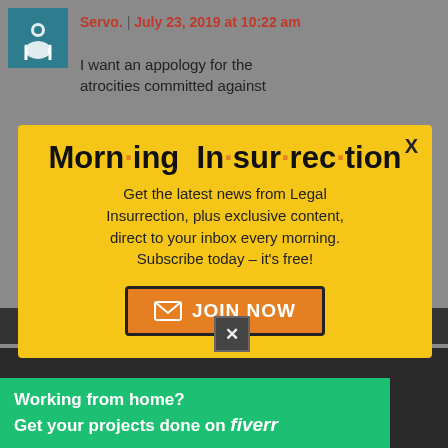Servo. | July 23, 2019 at 10:22 am
I want an appology for the atrocities committed against
[Figure (screenshot): Morning Insurrection newsletter subscription popup with yellow background, title 'Morn·ing In·sur·rec·tion', subscription text, and orange JOIN NOW button]
2smartforlibs | July 3, 2019 at 9:54 am
[Figure (screenshot): Fiverr advertisement banner: Working from home? Get your projects done on fiverr]